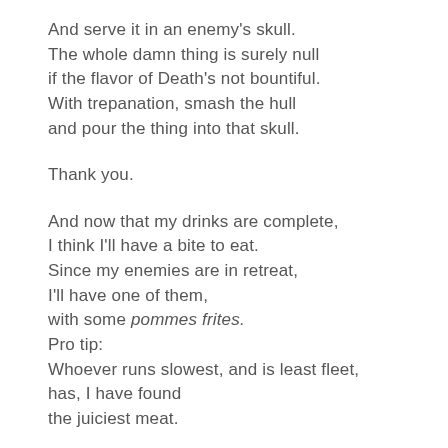And serve it in an enemy's skull.
The whole damn thing is surely null
if the flavor of Death's not bountiful.
With trepanation, smash the hull
and pour the thing into that skull.
Thank you.
And now that my drinks are complete,
I think I'll have a bite to eat.
Since my enemies are in retreat,
I'll have one of them,
with some pommes frites.
Pro tip:
Whoever runs slowest, and is least fleet,
has, I have found
the juiciest meat.